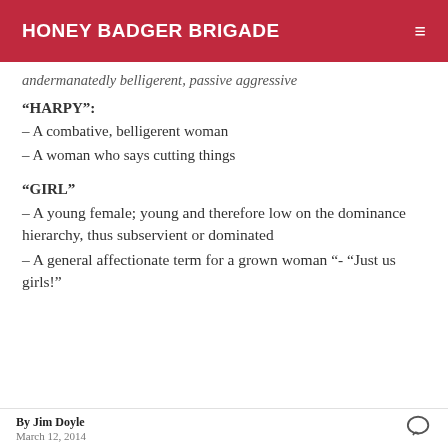HONEY BADGER BRIGADE
andermanatedly belligerent, passive aggressive
“HARPY”:
– A combative, belligerent woman
– A woman who says cutting things
“GIRL”
– A young female; young and therefore low on the dominance hierarchy, thus subservient or dominated
– A general affectionate term for a grown woman “- “Just us girls!”
By Jim Doyle
March 12, 2014